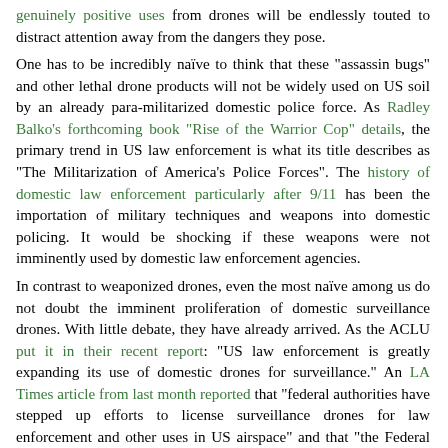genuinely positive uses from drones will be endlessly touted to distract attention away from the dangers they pose.
One has to be incredibly naïve to think that these "assassin bugs" and other lethal drone products will not be widely used on US soil by an already para-militarized domestic police force. As Radley Balko's forthcoming book "Rise of the Warrior Cop" details, the primary trend in US law enforcement is what its title describes as "The Militarization of America's Police Forces". The history of domestic law enforcement particularly after 9/11 has been the importation of military techniques and weapons into domestic policing. It would be shocking if these weapons were not imminently used by domestic law enforcement agencies.
In contrast to weaponized drones, even the most naïve among us do not doubt the imminent proliferation of domestic surveillance drones. With little debate, they have already arrived. As the ACLU put it in their recent report: "US law enforcement is greatly expanding its use of domestic drones for surveillance." An LA Times article from last month reported that "federal authorities have stepped up efforts to license surveillance drones for law enforcement and other uses in US airspace" and that "the Federal Aviation Administration said Friday it had issued 1,428 permits to domestic drone operators since 2007, far more than were